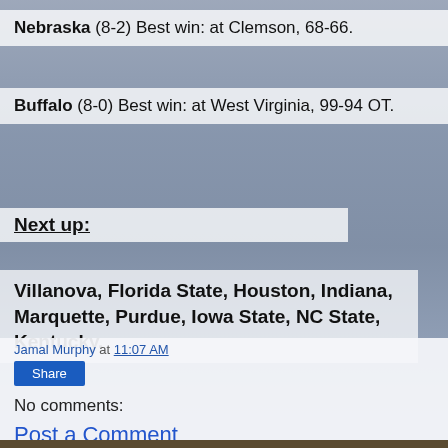Nebraska (8-2) Best win: at Clemson, 68-66.
Buffalo (8-0) Best win: at West Virginia, 99-94 OT.
Next up:
Villanova, Florida State, Houston, Indiana, Marquette, Purdue, Iowa State, NC State, Kentucky.
Jamal Murphy at 11:07 AM
Share
No comments:
Post a Comment